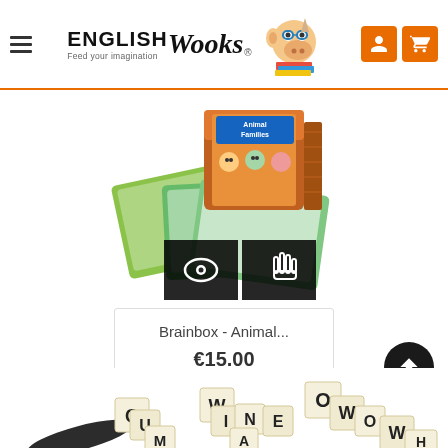[Figure (logo): English Wooks logo with mascot hippo/rhino wearing glasses, text 'ENGLISH Wooks® Feed your imagination']
[Figure (photo): Brainbox Animal Families game box with cards spread out, showing colorful illustrated animal cards and game box]
Brainbox - Animal...
€15.00
[Figure (photo): Scrabble-style letter tiles spelling WINE, WOW, QU and other letters arranged on a surface]